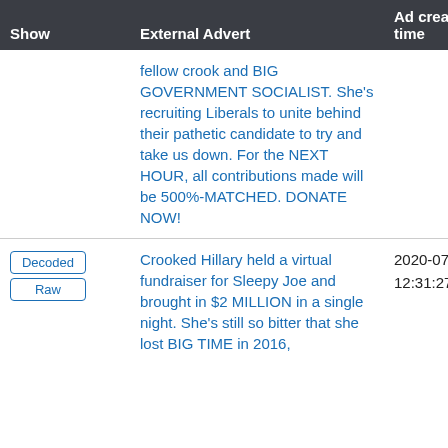| Show | External Advert | Ad creation time |
| --- | --- | --- |
|  | fellow crook and BIG GOVERNMENT SOCIALIST. She's recruiting Liberals to unite behind their pathetic candidate to try and take us down. For the NEXT HOUR, all contributions made will be 500%-MATCHED. DONATE NOW! |  |
| Decoded / Raw | Crooked Hillary held a virtual fundraiser for Sleepy Joe and brought in $2 MILLION in a single night. She's still so bitter that she lost BIG TIME in 2016, | 2020-07-22 12:31:27 UTC |